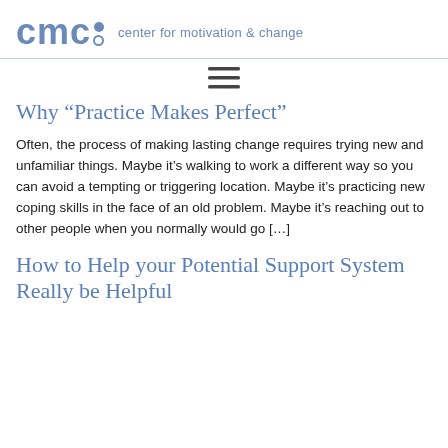cmc: center for motivation & change
Why "Practice Makes Perfect"
Often, the process of making lasting change requires trying new and unfamiliar things. Maybe it’s walking to work a different way so you can avoid a tempting or triggering location. Maybe it’s practicing new coping skills in the face of an old problem. Maybe it’s reaching out to other people when you normally would go [...]
How to Help your Potential Support System Really be Helpful